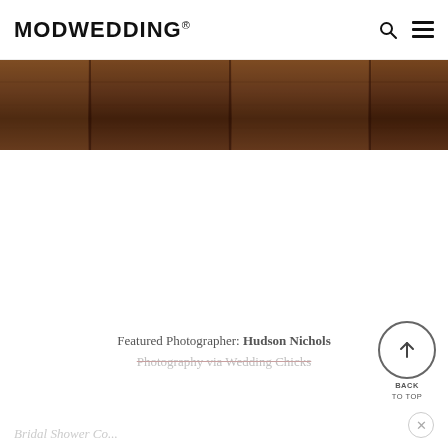MODWEDDING®
[Figure (photo): Cropped bottom portion of a wooden floor photo in warm brown tones, shown as a horizontal strip at the top of the page content area.]
Featured Photographer: Hudson Nichols Photography via Wedding Chicks
Bridal Shower Co...